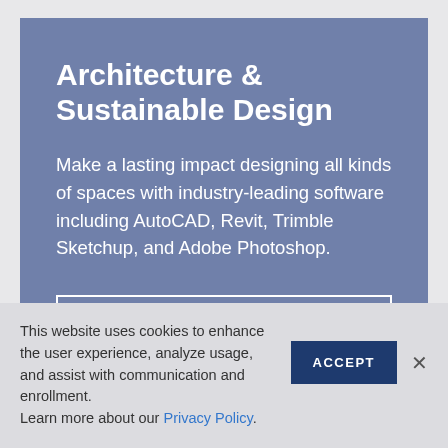Architecture & Sustainable Design
Make a lasting impact designing all kinds of spaces with industry-leading software including AutoCAD, Revit, Trimble Sketchup, and Adobe Photoshop.
EXPLORE THE PROGRAM
This website uses cookies to enhance the user experience, analyze usage, and assist with communication and enrollment.
Learn more about our Privacy Policy.